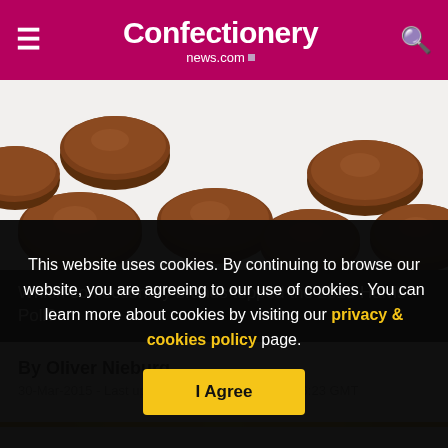Confectionery news.com
[Figure (photo): Chocolate candy pieces (round chocolate buttons) scattered on a white background]
Which confectionery brands topped the 2015 Harris Poll?
By Oliver Nieburg
30-Mar-2015 - Last updated on 31-Mar-2015 at 16:23 GMT
This website uses cookies. By continuing to browse our website, you are agreeing to our use of cookies. You can learn more about cookies by visiting our privacy & cookies policy page.
I Agree